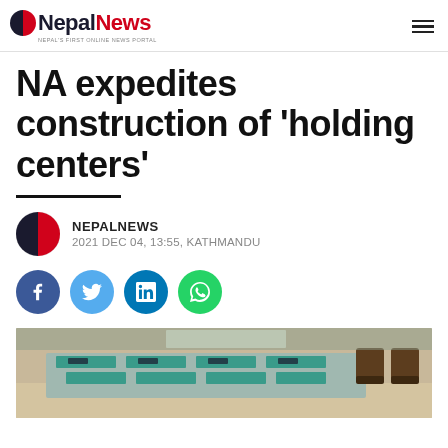NepalaNews — NEPAL'S FIRST ONLINE NEWS PORTAL
NA expedites construction of 'holding centers'
NEPALNEWS
2021 DEC 04, 13:55, KATHMANDU
[Figure (other): Social media share buttons: Facebook, Twitter, LinkedIn, WhatsApp]
[Figure (photo): Indoor conference or meeting room with teal-colored table mats and chairs]